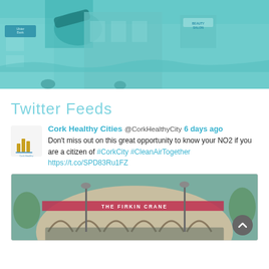[Figure (photo): Teal-tinted street scene showing a security camera, storefronts including Ulster Bank and a Beauty Salon, with people on the street.]
Twitter Feeds
[Figure (logo): Cork Healthy Cities logo — small building/city icon in orange/yellow on white background]
Cork Healthy Cities @CorkHealthyCity  6 days ago
Don't miss out on this great opportunity to know your NO2 if you are a citizen of #CorkCity #CleanAirTogether https://t.co/SPD83Ru1FZ
[Figure (photo): Photo of The Firkin Crane building, a circular stone building with arched windows and a group of people standing in front of it.]